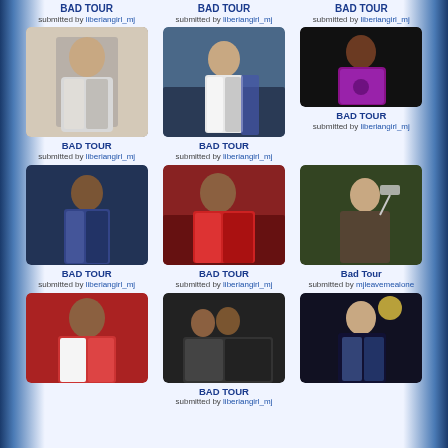BAD TOUR
submitted by liberiangirl_mj
BAD TOUR
submitted by liberiangirl_mj
BAD TOUR
submitted by liberiangirl_mj
[Figure (photo): Michael Jackson performing in silver jacket]
BAD TOUR
submitted by liberiangirl_mj
[Figure (photo): Michael Jackson performing on stage]
BAD TOUR
submitted by liberiangirl_mj
[Figure (photo): Performer in purple sparkly outfit]
BAD TOUR
submitted by liberiangirl_mj
[Figure (photo): Michael Jackson in blue sequin jacket]
BAD TOUR
submitted by liberiangirl_mj
[Figure (photo): Michael Jackson in red jacket with microphone]
BAD TOUR
submitted by liberiangirl_mj
[Figure (photo): Michael Jackson reaching up in black and tan]
Bad Tour
submitted by mjleavemealone
[Figure (photo): Michael Jackson in red jacket singing]
[Figure (photo): Group on stage Bad Tour]
BAD TOUR
submitted by liberiangirl_mj
[Figure (photo): Michael Jackson performing in sequin jacket]